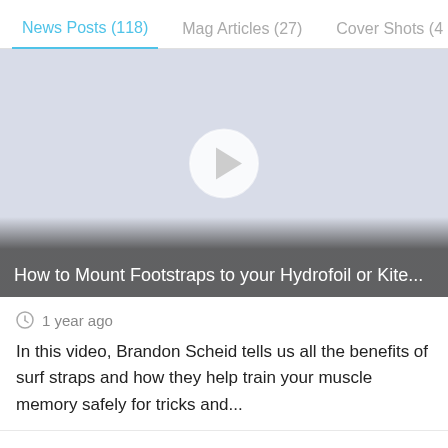News Posts (118)   Mag Articles (27)   Cover Shots (4
[Figure (screenshot): Video thumbnail with light blue-grey background and a white play button circle in the center. Bottom overlay shows video title: 'How to Mount Footstraps to your Hydrofoil or Kite...']
1 year ago
In this video, Brandon Scheid tells us all the benefits of surf straps and how they help train your muscle memory safely for tricks and...
5,363